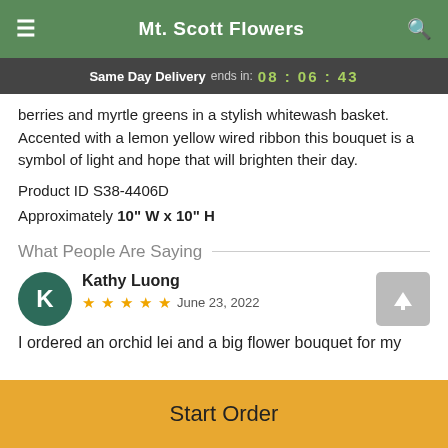Mt. Scott Flowers
Same Day Delivery ends in: 08 : 06 : 43
berries and myrtle greens in a stylish whitewash basket. Accented with a lemon yellow wired ribbon this bouquet is a symbol of light and hope that will brighten their day.
Product ID S38-4406D
Approximately 10" W x 10" H
What People Are Saying
Kathy Luong
★★★★★  June 23, 2022
I ordered an orchid lei and a big flower bouquet for my
Start Order